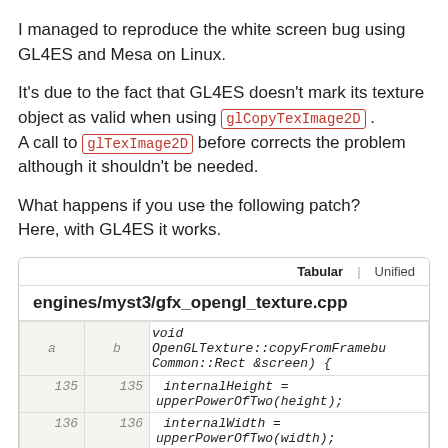I managed to reproduce the white screen bug using GL4ES and Mesa on Linux.
It's due to the fact that GL4ES doesn't mark its texture object as valid when using glCopyTexImage2D. A call to glTexImage2D before corrects the problem although it shouldn't be needed.
What happens if you use the following patch?
Here, with GL4ES it works.
[Figure (screenshot): Diff view of engines/myst3/gfx_opengl_texture.cpp showing a tabular diff with columns a and b, and code lines 135-138 including internalHeight = upperPowerOfTwo(height); internalWidth = upperPowerOfTwo(width); and closing brace.]